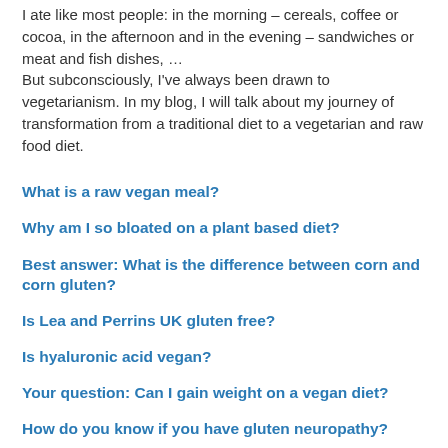I ate like most people: in the morning – cereals, coffee or cocoa, in the afternoon and in the evening – sandwiches or meat and fish dishes, …
But subconsciously, I've always been drawn to vegetarianism. In my blog, I will talk about my journey of transformation from a traditional diet to a vegetarian and raw food diet.
What is a raw vegan meal?
Why am I so bloated on a plant based diet?
Best answer: What is the difference between corn and corn gluten?
Is Lea and Perrins UK gluten free?
Is hyaluronic acid vegan?
Your question: Can I gain weight on a vegan diet?
How do you know if you have gluten neuropathy?